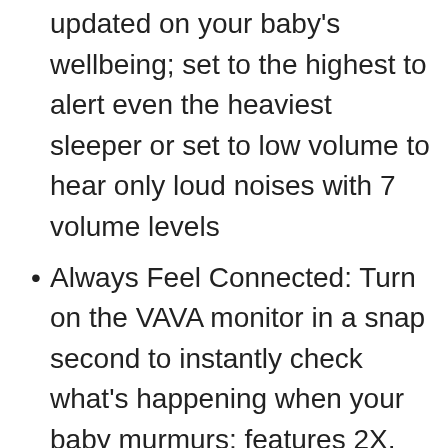updated on your baby’s wellbeing; set to the highest to alert even the heaviest sleeper or set to low volume to hear only loud noises with 7 volume levels
Always Feel Connected: Turn on the VAVA monitor in a snap second to instantly check what’s happening when your baby murmurs; features 2X, 4X zoom and an auto-pilot panoramic mode to scan your baby’s nursery, no waiting around for any app or setup
Up to 24hr Battery Life: Built in